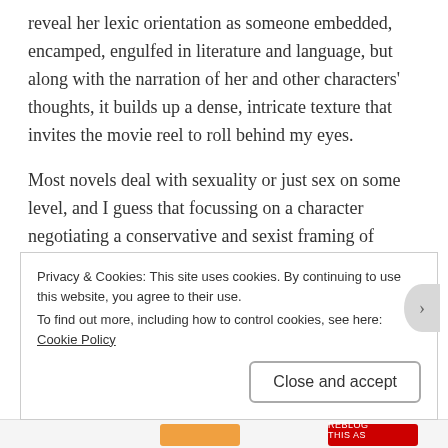reveal her lexic orientation as someone embedded, encamped, engulfed in literature and language, but along with the narration of her and other characters' thoughts, it builds up a dense, intricate texture that invites the movie reel to roll behind my eyes.
Most novels deal with sexuality or just sex on some level, and I guess that focussing on a character negotiating a conservative and sexist framing of female purity is hardly a fresh theme, but Ahdaf's treatment is fresh, incisively nuanced, multi-layered, wholly believable, as well as sizzlingly erotic. She has the gift of giving life to her
Privacy & Cookies: This site uses cookies. By continuing to use this website, you agree to their use.
To find out more, including how to control cookies, see here: Cookie Policy

Close and accept